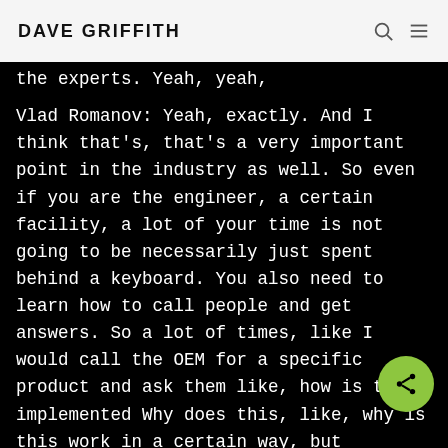DAVE GRIFFITH
the experts. Yeah, yeah,
Vlad Romanov: Yeah, exactly. And I think that's, that's a very important point in the industry as well. So even if you are the engineer, a certain facility, a lot of your time is not going to be necessarily just spent behind a keyboard. You also need to learn how to call people and get answers. So a lot of times, like I would call the OEM for a specific product and ask them like, how is this implemented Why does this, like, why is this work in a certain way, but